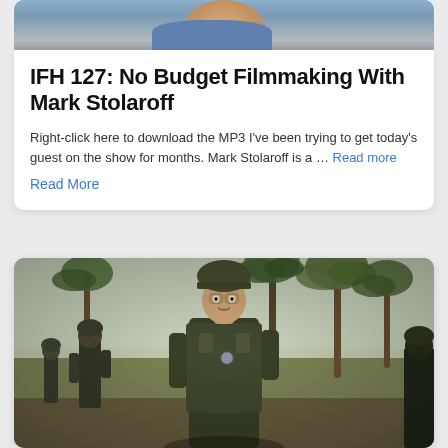[Figure (photo): Top portion of a person visible at top of card, wearing blue, cropped]
IFH 127: No Budget Filmmaking With Mark Stolaroff
Right-click here to download the MP3 I've been trying to get today's guest on the show for months. Mark Stolaroff is a … Read more
Read More
[Figure (photo): War scene photograph showing soldiers in military gear with helmets and equipment, with palm trees in the background, in a tropical setting]